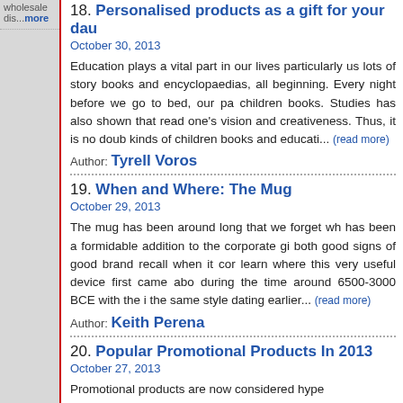wholesale dis...more
18. Personalised products as a gift for your dau
October 30, 2013
Education plays a vital part in our lives particularly us lots of story books and encyclopaedias, all beginning. Every night before we go to bed, our pa children books. Studies has also shown that read one's vision and creativeness. Thus, it is no doub kinds of children books and educati... (read more)
Author: Tyrell Voros
19. When and Where: The Mug
October 29, 2013
The mug has been around long that we forget wh has been a formidable addition to the corporate gi both good signs of good brand recall when it cor learn where this very useful device first came abo during the time around 6500-3000 BCE with the i the same style dating earlier... (read more)
Author: Keith Perena
20. Popular Promotional Products In 2013
October 27, 2013
Promotional products are now considered hype